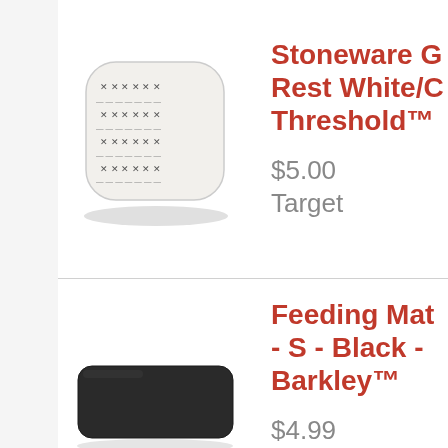[Figure (photo): Square stoneware spoon rest with white/gray geometric pattern]
Stoneware G Rest White/C Threshold™
$5.00
Target
[Figure (photo): Small black rectangular feeding mat]
Feeding Mat - S - Black - Barkley™
$4.99
Target